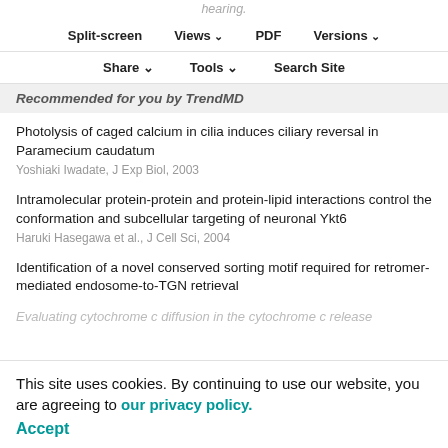Split-screen   Views   PDF   Versions
Share   Tools   Search Site
Recommended for you by TrendMD
Photolysis of caged calcium in cilia induces ciliary reversal in Paramecium caudatum
Yoshiaki Iwadate, J Exp Biol, 2003
Intramolecular protein-protein and protein-lipid interactions control the conformation and subcellular targeting of neuronal Ykt6
Haruki Hasegawa et al., J Cell Sci, 2004
Identification of a novel conserved sorting motif required for retromer-mediated endosome-to-TGN retrieval
Evaluating cytochrome c diffusion in the cytochrome c release
This site uses cookies. By continuing to use our website, you are agreeing to our privacy policy.
Accept